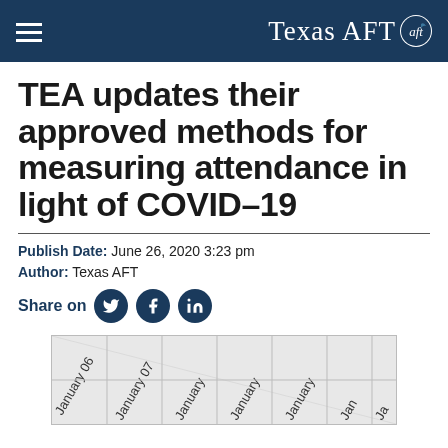Texas AFT
TEA updates their approved methods for measuring attendance in light of COVID-19
Publish Date: June 26, 2020 3:23 pm
Author: Texas AFT
Share on
[Figure (photo): Close-up of a calendar showing months with January visible multiple times in diagonal text]